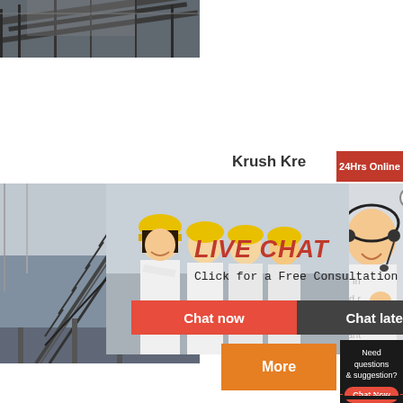[Figure (photo): Industrial machinery/equipment photo, cropped at top]
[Figure (photo): Industrial conveyor belt structure, left side]
[Figure (screenshot): Live Chat popup overlay with worker group photo, 'LIVE CHAT' heading, 'Click for a Free Consultation', 'Chat now' and 'Chat later' buttons]
[Figure (photo): Customer service representative with headset, right side]
Krush Kre
24Hrs Online
in
d r
: o
ant
[Figure (infographic): Orange 'More' button]
Need questions & suggestion?
Chat Now
Enquiry
limingjlmofen